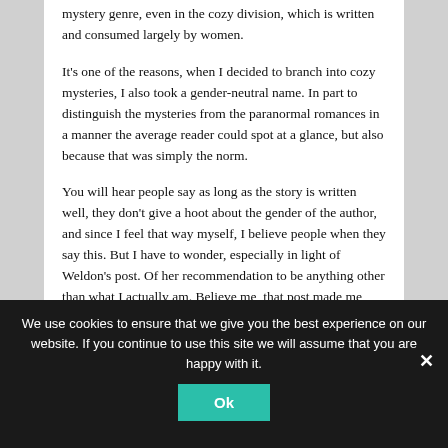mystery genre, even in the cozy division, which is written and consumed largely by women.
It's one of the reasons, when I decided to branch into cozy mysteries, I also took a gender-neutral name. In part to distinguish the mysteries from the paranormal romances in a manner the average reader could spot at a glance, but also because that was simply the norm.
You will hear people say as long as the story is written well, they don't give a hoot about the gender of the author, and since I feel that way myself, I believe people when they say this. But I have to wonder, especially in light of Weldon's post. Of her recommendation to be anything other than what I actually am. Believe me, that post made me wonder if I'd made a serious mistake by going with a
We use cookies to ensure that we give you the best experience on our website. If you continue to use this site we will assume that you are happy with it.